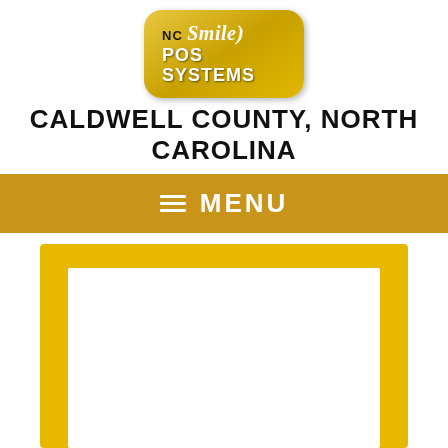[Figure (logo): NC Smile POS Systems logo - gold rounded rectangle badge with white text]
CALDWELL COUNTY, NORTH CAROLINA
≡ MENU
[Figure (other): Gold/yellow thick border frame (rectangle outline) with white interior, partially visible at bottom of page]